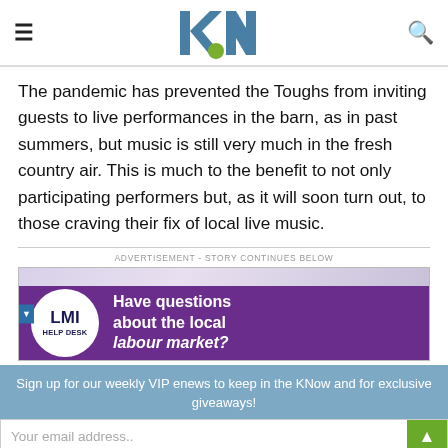kN (logo)
The pandemic has prevented the Toughs from inviting guests to live performances in the barn, as in past summers, but music is still very much in the fresh country air. This is much to the benefit to not only participating performers but, as it will soon turn out, to those craving their fix of local live music.
ADVERTISEMENT - STORY CONTINUES BELOW
[Figure (other): LMI Help Desk advertisement banner on purple background. Shows circular LMI HELP DESK logo on left and text 'Have questions about the local labour market?' on right in white.]
Sign up for our weekly VIP enews to keep in the KNow and for exclusive giveaways!
Your email address..
SUBSCRIBE